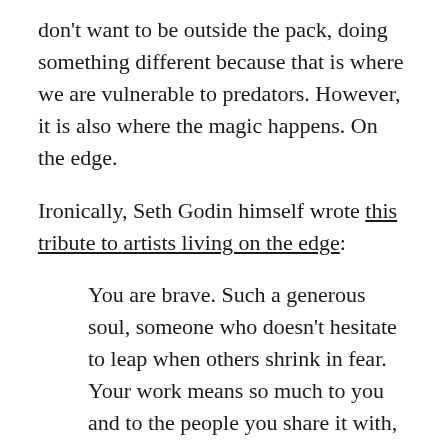don't want to be outside the pack, doing something different because that is where we are vulnerable to predators. However, it is also where the magic happens. On the edge.
Ironically, Seth Godin himself wrote this tribute to artists living on the edge:
You are brave. Such a generous soul, someone who doesn't hesitate to leap when others shrink in fear. Your work means so much to you and to the people you share it with, we can't help but be inspired at the way you make your magic. You're a warrior in the service of joy and you never seem to stop standing up and